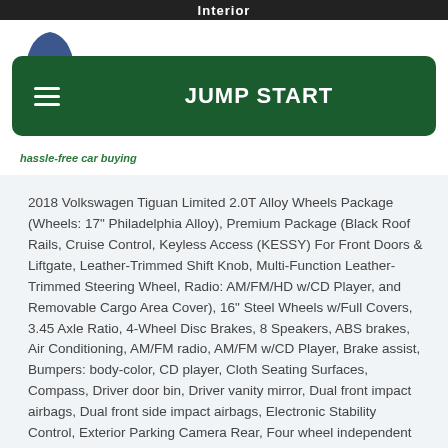Interior
[Figure (logo): Partial logo shape visible at top left]
JUMP START
hassle-free car buying
2018 Volkswagen Tiguan Limited 2.0T Alloy Wheels Package (Wheels: 17" Philadelphia Alloy), Premium Package (Black Roof Rails, Cruise Control, Keyless Access (KESSY) For Front Doors & Liftgate, Leather-Trimmed Shift Knob, Multi-Function Leather-Trimmed Steering Wheel, Radio: AM/FM/HD w/CD Player, and Removable Cargo Area Cover), 16" Steel Wheels w/Full Covers, 3.45 Axle Ratio, 4-Wheel Disc Brakes, 8 Speakers, ABS brakes, Air Conditioning, AM/FM radio, AM/FM w/CD Player, Brake assist, Bumpers: body-color, CD player, Cloth Seating Surfaces, Compass, Driver door bin, Driver vanity mirror, Dual front impact airbags, Dual front side impact airbags, Electronic Stability Control, Exterior Parking Camera Rear, Four wheel independent suspension, Front anti-roll bar, Front Bucket Seats, Front Center Armrest w/Storage, Front reading lights, Heated door mirrors, Illuminated entry, Low tire pressure warning, Occupant sensing airbag, Outside temperature display, Overhead airbag, Overhead console, Panic alarm, Passenger door bin, Passenger vanity mirror, Power door mirrors, Power steering, Power windows, Radio